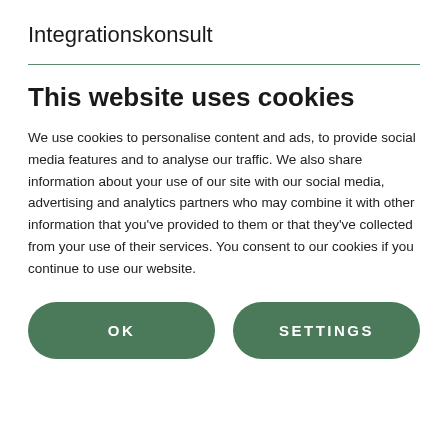Integrationskonsult
This website uses cookies
We use cookies to personalise content and ads, to provide social media features and to analyse our traffic. We also share information about your use of our site with our social media, advertising and analytics partners who may combine it with other information that you've provided to them or that they've collected from your use of their services. You consent to our cookies if you continue to use our website.
OK
SETTINGS